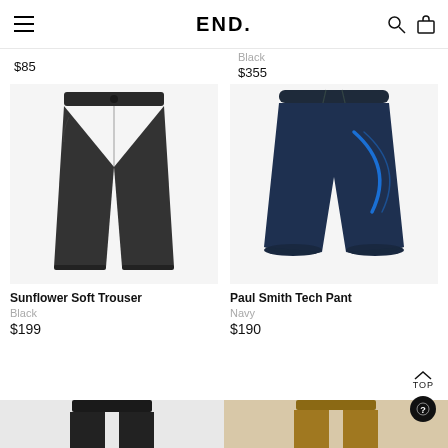END.
$85
Black
$355
[Figure (photo): Black straight-leg soft trousers (Sunflower Soft Trouser) on white background]
[Figure (photo): Navy jogger tech pants with blue curved seam detail (Paul Smith Tech Pant) on white background]
Sunflower Soft Trouser
Black
$199
Paul Smith Tech Pant
Navy
$190
[Figure (photo): Partial view of black pants (bottom of page)]
[Figure (photo): Partial view of brown/tan pants (bottom of page)]